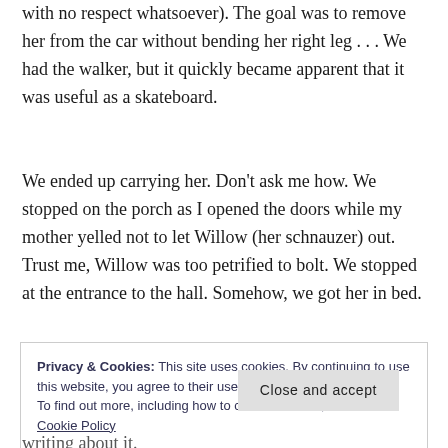with no respect whatsoever). The goal was to remove her from the car without bending her right leg . . . We had the walker, but it quickly became apparent that it was useful as a skateboard.
We ended up carrying her. Don’t ask me how. We stopped on the porch as I opened the doors while my mother yelled not to let Willow (her schnauzer) out. Trust me, Willow was too petrified to bolt. We stopped at the entrance to the hall. Somehow, we got her in bed.
Privacy & Cookies: This site uses cookies. By continuing to use this website, you agree to their use.
To find out more, including how to control cookies, see here: Cookie Policy
[Close and accept]
writing about it.